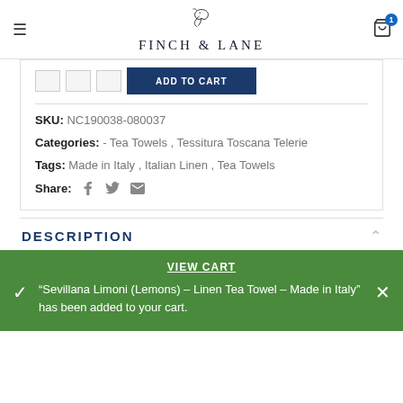FINCH & LANE
SKU: NC190038-080037
Categories: - Tea Towels , Tessitura Toscana Telerie
Tags: Made in Italy , Italian Linen , Tea Towels
Share:
DESCRIPTION
VIEW CART
"Sevillana Limoni (Lemons) – Linen Tea Towel – Made in Italy" has been added to your cart.